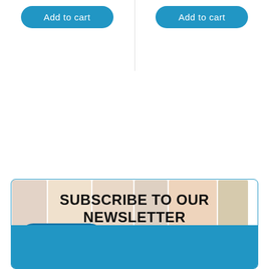Add to cart
Add to cart
SUBSCRIBE TO OUR NEWSLETTER
Enter your e-mail address
Chat with us
SUBSCRIBE